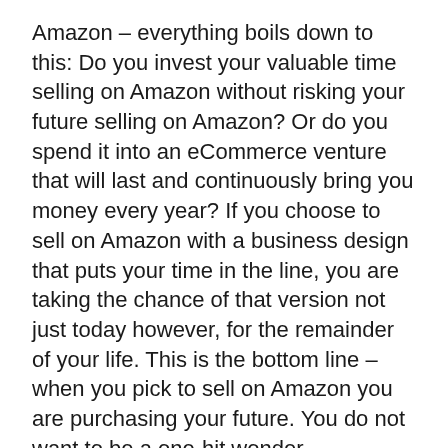Amazon – everything boils down to this: Do you invest your valuable time selling on Amazon without risking your future selling on Amazon? Or do you spend it into an eCommerce venture that will last and continuously bring you money every year? If you choose to sell on Amazon with a business design that puts your time in the line, you are taking the chance of that version not just today however, for the remainder of your life. This is the bottom line – when you pick to sell on Amazon you are purchasing your future. You do not want to be a one-hit wonder.
[Figure (photo): A photograph of a plant with dark green leaves, partially visible at the bottom of the page.]